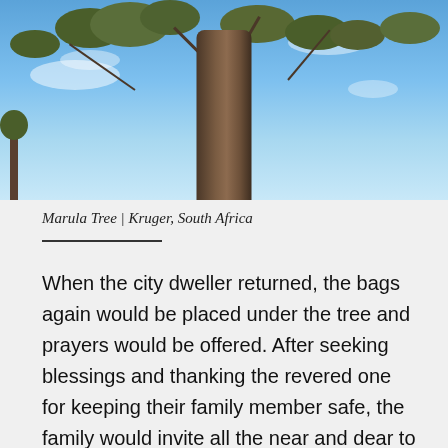[Figure (photo): A Marula tree photographed from below looking up, with a large textured trunk dominating the center, bare and sparsely leafed branches spreading outward against a bright blue sky with wispy white clouds. Located in Kruger, South Africa.]
Marula Tree | Kruger, South Africa
When the city dweller returned, the bags again would be placed under the tree and prayers would be offered. After seeking blessings and thanking the revered one for keeping their family member safe, the family would invite all the near and dear to their home and serve them liquor brewed from